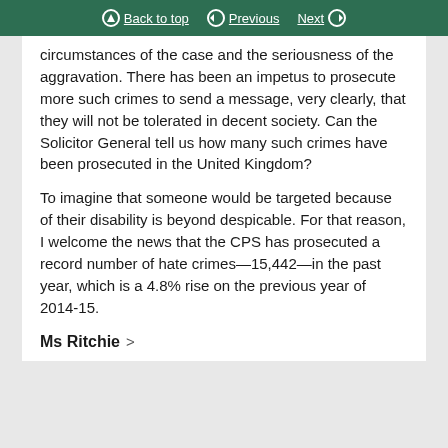Back to top | Previous | Next
circumstances of the case and the seriousness of the aggravation. There has been an impetus to prosecute more such crimes to send a message, very clearly, that they will not be tolerated in decent society. Can the Solicitor General tell us how many such crimes have been prosecuted in the United Kingdom?
To imagine that someone would be targeted because of their disability is beyond despicable. For that reason, I welcome the news that the CPS has prosecuted a record number of hate crimes—15,442—in the past year, which is a 4.8% rise on the previous year of 2014-15.
Ms Ritchie >